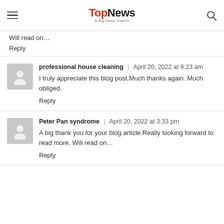TopNews | A Big News Search
Will read on…
Reply
professional house cleaning | April 20, 2022 at 9:23 am
I truly appreciate this blog post.Much thanks again. Much obliged.
Reply
Peter Pan syndrome | April 20, 2022 at 3:33 pm
A big thank you for your blog article.Really looking forward to read more. Will read on…
Reply